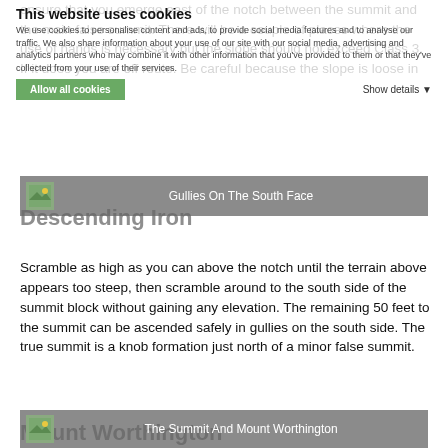ensure that you emerge east of the notch between the summit and the main false summit. There will be a couple of places where the use of hands is necessary but the slope should not exceed Class 3. If it does you are off route. Be careful because the slope is loose in many places.
[Figure (photo): Gullies On The South Face image thumbnail with caption bar]
Descending Iron
Scramble as high as you can above the notch until the terrain above appears too steep, then scramble around to the south side of the summit block without gaining any elevation. The remaining 50 feet to the summit can be ascended safely in gullies on the south side. The true summit is a knob formation just north of a minor false summit.
[Figure (photo): The Summit And Mount Worthington image thumbnail with caption bar]